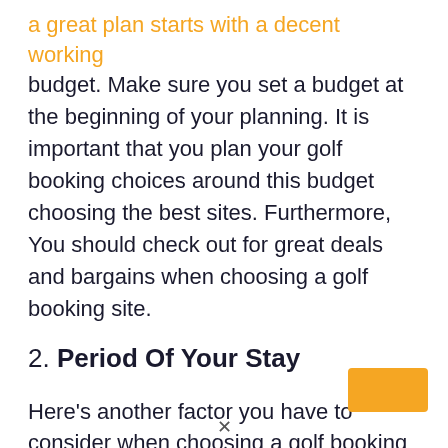a great plan starts with a decent working budget. Make sure you set a budget at the beginning of your planning. It is important that you plan your golf booking choices around this budget choosing the best sites. Furthermore, You should check out for great deals and bargains when choosing a golf booking site.
2. Period Of Your Stay
Here’s another factor you have to consider when choosing a golf booking site.
[Figure (other): Orange/yellow rectangular button or UI element in bottom-right corner]